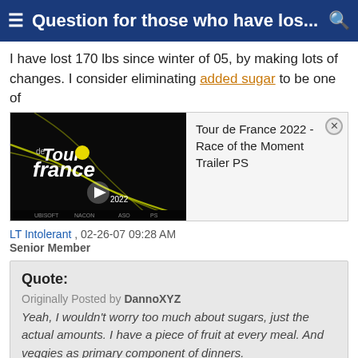Question for those who have los...
I have lost 170 lbs since winter of 05, by making lots of changes. I consider eliminating added sugar to be one of
[Figure (screenshot): Tour de France 2022 game advertisement showing the Tour de France logo on a dark background with a play button, alongside text reading 'Tour de France 2022 - Race of the Moment Trailer PS']
LT Intolerant , 02-26-07 09:28 AM
Senior Member
Quote:
Originally Posted by DannoXYZ
Yeah, I wouldn't worry too much about sugars, just the actual amounts. I have a piece of fruit at every meal. And veggies as primary component of dinners.
+ 1